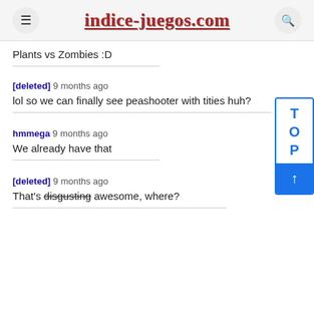indice-juegos.com
Plants vs Zombies :D
[deleted] 9 months ago
lol so we can finally see peashooter with tities huh?
hmmega 9 months ago
We already have that
[deleted] 9 months ago
That's ~~disgusting~~ awesome, where?